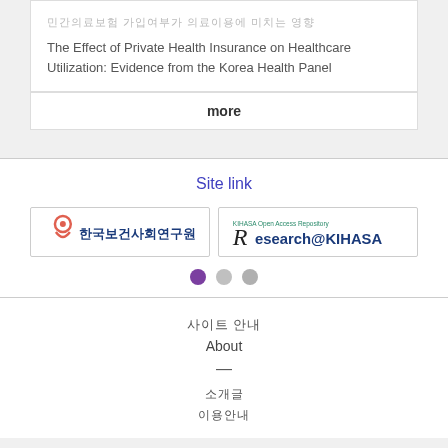민간의료보험 가입여부가 의료이용에 미치는 영향
The Effect of Private Health Insurance on Healthcare Utilization: Evidence from the Korea Health Panel
more
Site link
[Figure (logo): 한국보건사회연구원 (Korea Institute for Health and Social Affairs) logo with coral/red icon]
[Figure (logo): KIHASA Open Access Repository - Research@KIHASA logo]
사이트 안내
About
—
소개글
이용안내